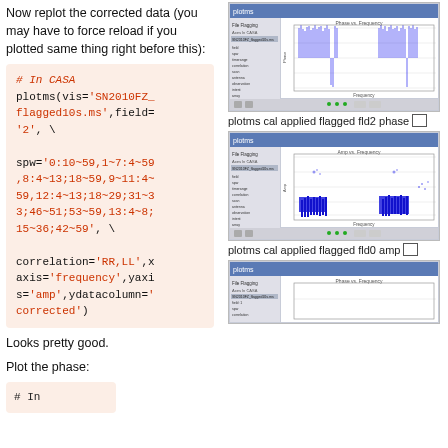Now replot the corrected data (you may have to force reload if you plotted same thing right before this):
# In CASA
plotms(vis='SN2010FZ_flagged10s.ms',field='2', \

spw='0:10~59,1~7:4~59,8:4~13;18~59,9~11:4~59,12:4~13;18~29;31~33;46~51;53~59,13:4~8;15~36;42~59', \

correlation='RR,LL',xaxis='frequency',yaxis='amp',ydatacolumn='corrected')
[Figure (screenshot): plotms cal applied flagged fld2 phase - screenshot of CASA plotms tool showing phase vs frequency plot with blue vertical lines]
plotms cal applied flagged fld2 phase
[Figure (screenshot): plotms cal applied flagged fld0 amp - screenshot of CASA plotms tool showing amp vs frequency with blue clusters]
plotms cal applied flagged fld0 amp
Looks pretty good.
Plot the phase:
# In
[Figure (screenshot): plotms phase vs frequency screenshot partial view at bottom of page]